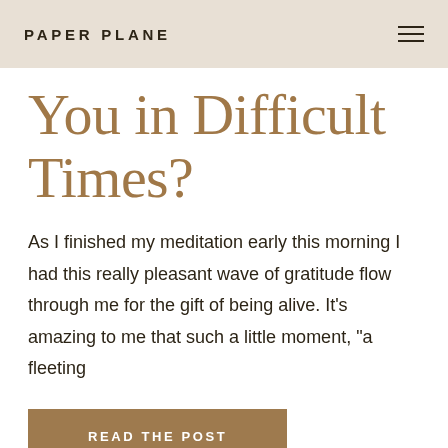PAPER PLANE
You in Difficult Times?
As I finished my meditation early this morning I had this really pleasant wave of gratitude flow through me for the gift of being alive. It's amazing to me that such a little moment, "a fleeting
READ THE POST